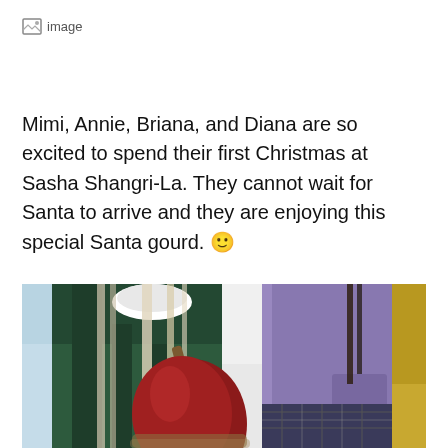[Figure (other): Broken image placeholder icon with alt text 'image']
Mimi, Annie, Briana, and Diana are so excited to spend their first Christmas at Sasha Shangri-La. They cannot wait for Santa to arrive and they are enjoying this special Santa gourd. 🙂
[Figure (photo): Close-up photo of dolls dressed in holiday outfits — one in a dark green dress with white collar, one in a purple jacket with plaid skirt, and others — holding a red Santa gourd with a brown stem.]